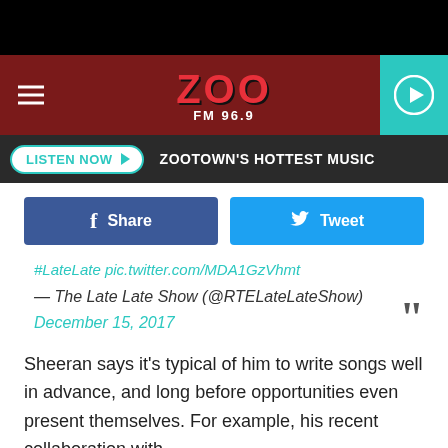[Figure (screenshot): ZOO FM 96.9 radio station website header with dark red banner, hamburger menu, ZOO FM 96.9 logo in red, and teal play button on right]
LISTEN NOW  ZOOTOWN'S HOTTEST MUSIC
Share   Tweet
#LateLate pic.twitter.com/MDA1GzVhmt
— The Late Late Show (@RTELateLateShow)
December 15, 2017
Sheeran says it's typical of him to write songs well in advance, and long before opportunities even present themselves. For example, his recent collaboration with